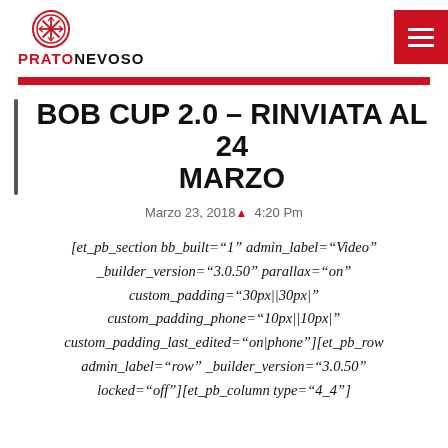PRATONEVOSO
BOB CUP 2.0 – RINVIATA AL 24 MARZO
Marzo 23, 2018  4:20 Pm
[et_pb_section bb_built="1" admin_label="Video" _builder_version="3.0.50" parallax="on" custom_padding="30px||30px|" custom_padding_phone="10px||10px|" custom_padding_last_edited="on|phone"][et_pb_row admin_label="row" _builder_version="3.0.50" locked="off"][et_pb_column type="4_4"]